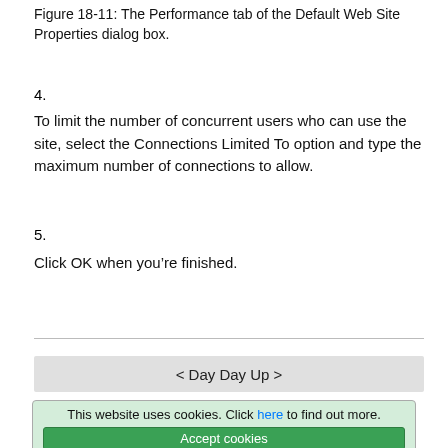Figure 18-11: The Performance tab of the Default Web Site Properties dialog box.
4.
To limit the number of concurrent users who can use the site, select the Connections Limited To option and type the maximum number of connections to allow.
5.
Click OK when you're finished.
< Day Day Up >
This website uses cookies. Click here to find out more. Accept cookies